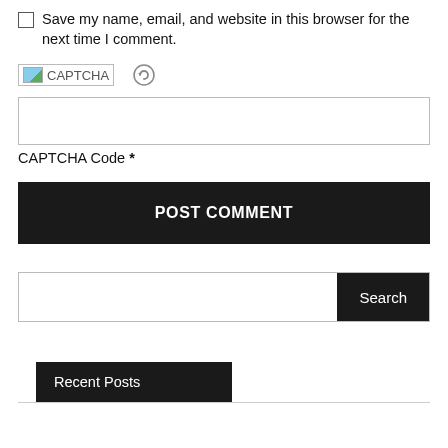Save my name, email, and website in this browser for the next time I comment.
[Figure (other): CAPTCHA image placeholder with broken image icon and refresh button]
CAPTCHA Code *
POST COMMENT
Search
Recent Posts